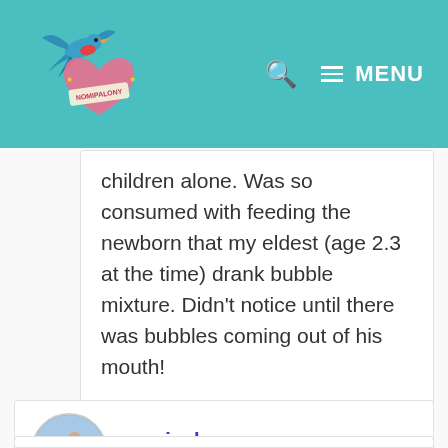Blog website header with logo and navigation menu
children alone. Was so consumed with feeding the newborn that my eldest (age 2.3 at the time) drank bubble mixture. Didn't notice until there was bubbles coming out of his mouth!
Reply
nomipalony
January 24, 2019 at 20:09